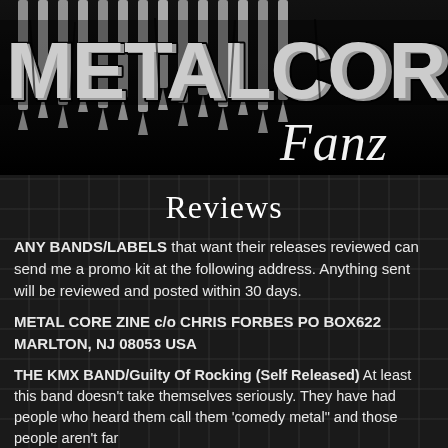[Figure (logo): Metal Core Fanzine logo with bullet/spike styled text on black background, with cursive 'Fanz' in white]
Reviews
ANY BANDS/LABELS that want their releases reviewed can send me a promo kit at the following address. Anything sent will be reviewed and posted within 30 days.
METAL CORE ZINE c/o CHRIS FORBES PO BOX622 MARLTON, NJ 08053 USA
THE KMX BAND/Guilty Of Rocking (Self Released) At least this band doesn't take themselves seriously. They have had people who heard them call them 'comedy metal" and those people aren't far off. At least